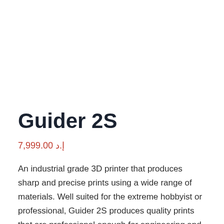Guider 2S
إ.د 7,999.00
An industrial grade 3D printer that produces sharp and precise prints using a wide range of materials. Well suited for the extreme hobbyist or professional, Guider 2S produces quality prints that are professional enough for engineering and